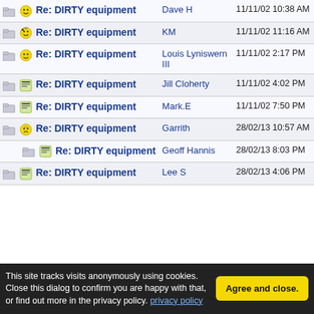| Subject | Author | Date |
| --- | --- | --- |
| Re: DIRTY equipment | Dave H | 11/11/02 10:38 AM |
| Re: DIRTY equipment | KM | 11/11/02 11:16 AM |
| Re: DIRTY equipment | Louis Lyniswern III | 11/11/02 2:17 PM |
| Re: DIRTY equipment | Jill Cloherty | 11/11/02 4:02 PM |
| Re: DIRTY equipment | Mark.E | 11/11/02 7:50 PM |
| Re: DIRTY equipment | Garrith | 28/02/13 10:57 AM |
| Re: DIRTY equipment (indented) | Geoff Hannis | 28/02/13 8:03 PM |
| Re: DIRTY equipment | Lee S | 28/02/13 4:06 PM |
This site tracks visits anonymously using cookies. Close this dialog to confirm you are happy with that, or find out more in the privacy policy.